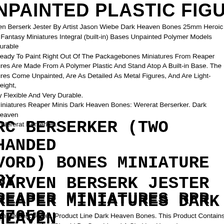NPAINTED PLASTIC FIGURE
ven Berserk Jester By Artist Jason Wiebe Dark Heaven Bones 25mm Heroic e Fantasy Miniatures Integral (built-in) Bases Unpainted Polymer Models Durable Ready To Paint Right Out Of The Packagebones Miniatures From Reaper tures Are Made From A Polymer Plastic And Stand Atop A Built-in Base. The tures Come Unpainted, Are As Detailed As Metal Figures, And Are Light-weight, tly Flexible And Very Durable.
Miniatures Reaper Minis Dark Heaven Bones: Wererat Berserker. Dark Heaven s Wererat Berserker.
RC BERSERKER (TWO HANDED VORD) BONES MINIATURE BY REAPER MINIATURES RPR 77059
WARVEN BERSERK JESTER REAPER MINIATURES DARK HEAVEN BONES REM77569 D&D
ven Berserk Jester. Product Line Dark Heaven Bones. This Product Contains d Components And Should Be Considered A Choking Hazard.